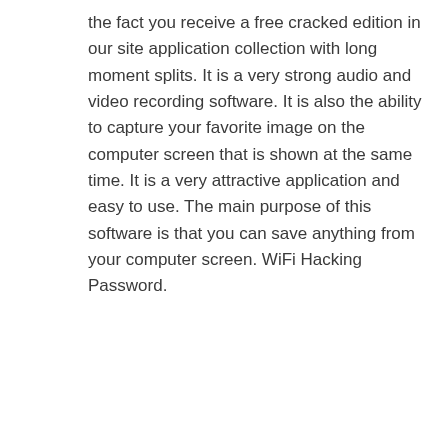the fact you receive a free cracked edition in our site application collection with long moment splits. It is a very strong audio and video recording software. It is also the ability to capture your favorite image on the computer screen that is shown at the same time. It is a very attractive application and easy to use. The main purpose of this software is that you can save anything from your computer screen. WiFi Hacking Password.